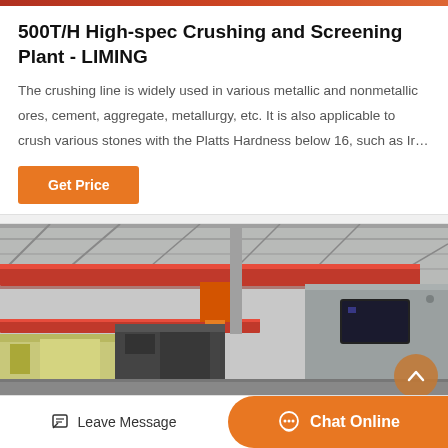500T/H High-spec Crushing and Screening Plant - LIMING
The crushing line is widely used in various metallic and nonmetallic ores, cement, aggregate, metallurgy, etc. It is also applicable to crush various stones with the Platts Hardness below 16, such as Ir…
[Figure (photo): Factory interior showing red overhead crane beams, large industrial crushing/screening machinery in a warehouse setting]
Leave Message
Chat Online